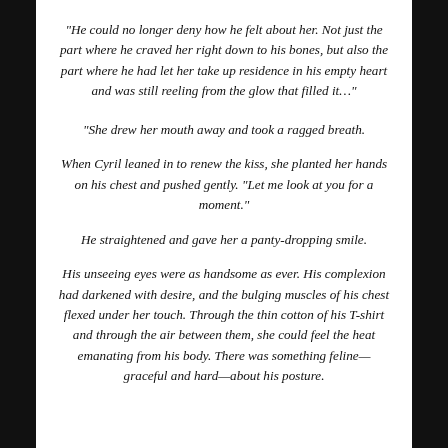“He could no longer deny how he felt about her. Not just the part where he craved her right down to his bones, but also the part where he had let her take up residence in his empty heart and was still reeling from the glow that filled it…”
“She drew her mouth away and took a ragged breath.
When Cyril leaned in to renew the kiss, she planted her hands on his chest and pushed gently. “Let me look at you for a moment.”
He straightened and gave her a panty-dropping smile.
His unseeing eyes were as handsome as ever. His complexion had darkened with desire, and the bulging muscles of his chest flexed under her touch. Through the thin cotton of his T-shirt and through the air between them, she could feel the heat emanating from his body. There was something feline—graceful and hard—about his posture.